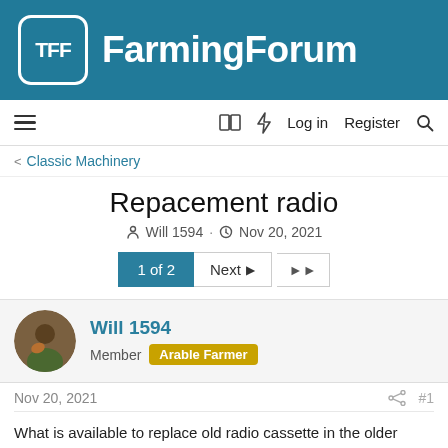TFF FarmingForum
≡  🔖  ⚡  Log in  Register  🔍
< Classic Machinery
Repacement radio
Will 1594 · Nov 20, 2021
1 of 2  Next ▶  ▶▶
Will 1594
Member  Arable Farmer
Nov 20, 2021  #1
What is available to replace old radio cassette in the older tractors ,that fit